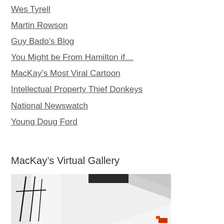Wes Tyrell
Martin Rowson
Guy Bado's Blog
You Might be From Hamilton if...
MacKay's Most Viral Cartoon
Intellectual Property Thief Donkeys
National Newswatch
Young Doug Ford
MacKay’s Virtual Gallery
[Figure (photo): Partial view of a white modern architectural structure or vehicle with geometric angular shapes, black railing/poles visible on the left side, and a small orange/red element at bottom right.]